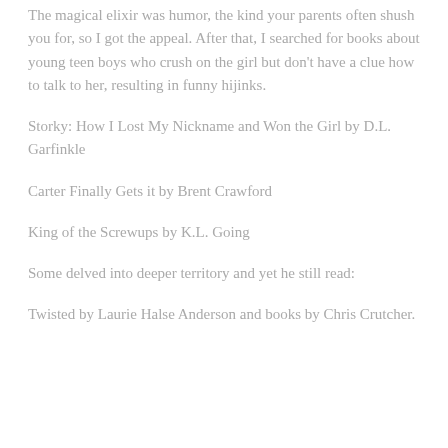The magical elixir was humor, the kind your parents often shush you for, so I got the appeal. After that, I searched for books about young teen boys who crush on the girl but don't have a clue how to talk to her, resulting in funny hijinks.
Storky: How I Lost My Nickname and Won the Girl by D.L. Garfinkle
Carter Finally Gets it by Brent Crawford
King of the Screwups by K.L. Going
Some delved into deeper territory and yet he still read:
Twisted by Laurie Halse Anderson and books by Chris Crutcher.